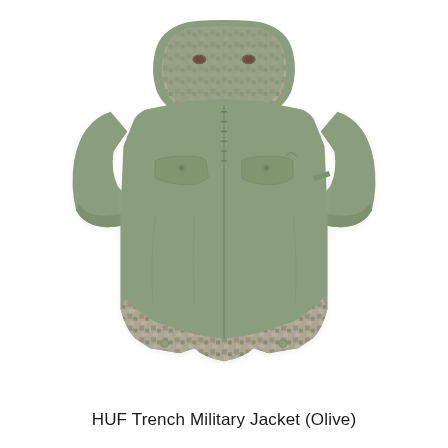[Figure (photo): HUF Trench Military Jacket in Olive color, laid flat on white background, showing hooded long trench coat style with zip front, two chest flap pockets, camouflage lining visible at hood and hem]
HUF Trench Military Jacket (Olive)